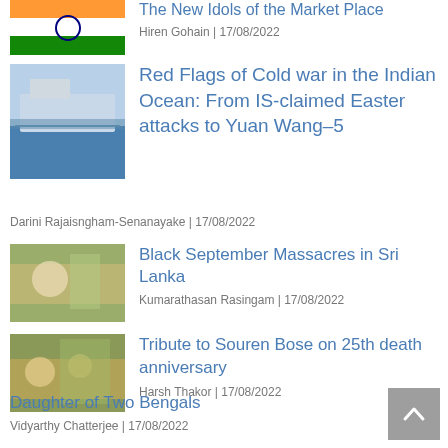The New Idols of the Market Place
Hiren Gohain | 17/08/2022
Red Flags of Cold war in the Indian Ocean: From IS-claimed Easter attacks to Yuan Wang-5
Darini Rajaisngham-Senanayake | 17/08/2022
Black September Massacres in Sri Lanka
Kumarathasan Rasingam | 17/08/2022
Tribute to Souren Bose on 25th death anniversary
Harsh Thakor | 17/08/2022
Daughter of Two Bengals
Vidyarthy Chatterjee | 17/08/2022